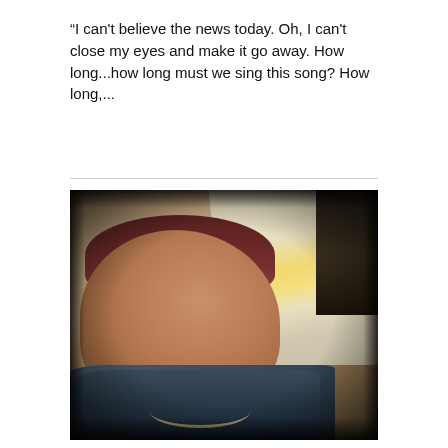“I can't believe the news today. Oh, I can't close my eyes and make it go away. How long...how long must we sing this song? How long,...
[Figure (photo): A woman with reddish-brown hair, wearing a denim jacket and layered necklaces, photographed in a selfie style indoors. The photo has a heavy vignette/dark border effect. Background shows papers and colorful folders.]